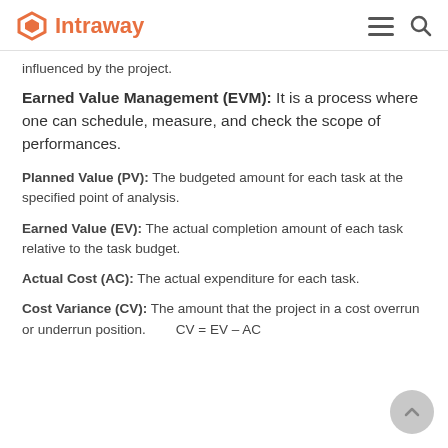Intraway
influenced by the project.
Earned Value Management (EVM): It is a process where one can schedule, measure, and check the scope of performances.
Planned Value (PV): The budgeted amount for each task at the specified point of analysis.
Earned Value (EV): The actual completion amount of each task relative to the task budget.
Actual Cost (AC): The actual expenditure for each task.
Cost Variance (CV): The amount that the project in a cost overrun or underrun position.   CV = EV – AC